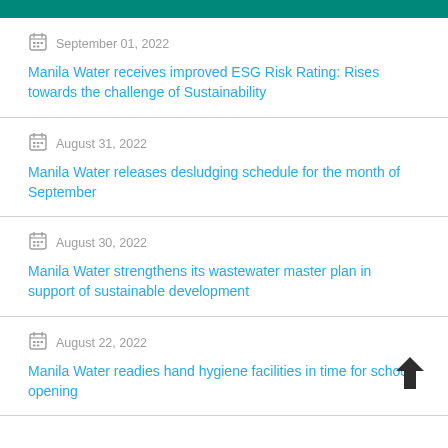September 01, 2022 — Manila Water receives improved ESG Risk Rating: Rises towards the challenge of Sustainability
August 31, 2022 — Manila Water releases desludging schedule for the month of September
August 30, 2022 — Manila Water strengthens its wastewater master plan in support of sustainable development
August 22, 2022 — Manila Water readies hand hygiene facilities in time for school opening